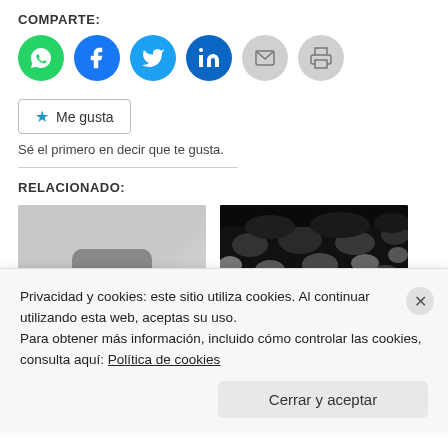COMPARTE:
[Figure (infographic): Row of circular social share buttons: WhatsApp (green), Facebook (blue), Twitter (light blue), LinkedIn (dark blue), Email (gray), Print (gray)]
Me gusta
Sé el primero en decir que te gusta.
RELACIONADO:
[Figure (screenshot): YouTube-style placeholder thumbnail with gray background and three white dots on a rounded dark rectangle]
[Figure (photo): Black and white photograph of boulders on Bennu asteroid surface]
Boulders on Bennu
Privacidad y cookies: este sitio utiliza cookies. Al continuar utilizando esta web, aceptas su uso.
Para obtener más información, incluido cómo controlar las cookies, consulta aquí: Política de cookies
Cerrar y aceptar